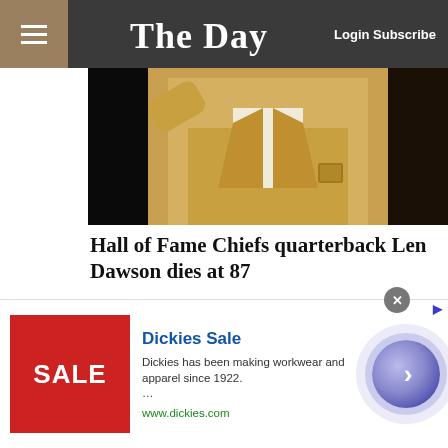The Day — Login Subscribe
[Figure (photo): Photo of a person wearing a gold/tan blazer, appears to be at a formal event]
Hall of Fame Chiefs quarterback Len Dawson dies at 87
Kansas City, Mo. — Whether it was in the huddle during the early days of the AFL or behind the microphone as the NFL grew into the behemoth it is today, Len Dawson carried himself with an unmistakable...
[Figure (photo): Partial photo of a person, second article image]
[Figure (other): Advertisement overlay: Dickies Sale — Dickies has been making workwear and apparel since 1922. www.dickies.com]